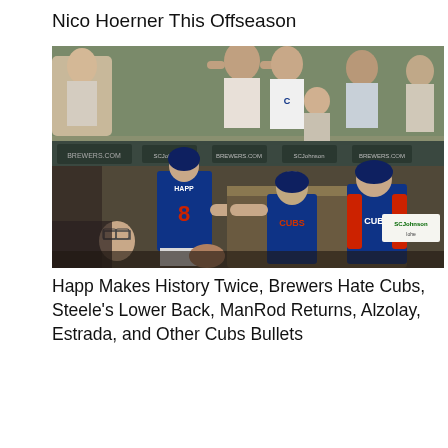Nico Hoerner This Offseason
[Figure (photo): Baseball players in Chicago Cubs blue uniforms celebrating near the dugout. A player wearing number 8 (Happ) high-fives a coach, with fans including a Cubs fan visible in the stands behind them. The photo is taken at a Brewers stadium with SCJohnson advertising visible.]
Happ Makes History Twice, Brewers Hate Cubs, Steele's Lower Back, ManRod Returns, Alzolay, Estrada, and Other Cubs Bullets